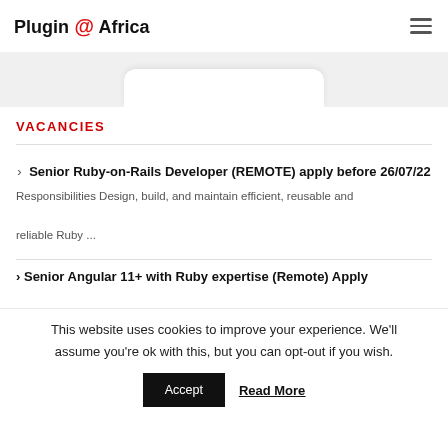Plugin @ Africa
VACANCIES
Senior Ruby-on-Rails Developer (REMOTE) apply before 26/07/22
Responsibilities Design, build, and maintain efficient, reusable and reliable Ruby ...
Senior Angular 11+ with Ruby expertise (Remote) Apply
This website uses cookies to improve your experience. We'll assume you're ok with this, but you can opt-out if you wish.